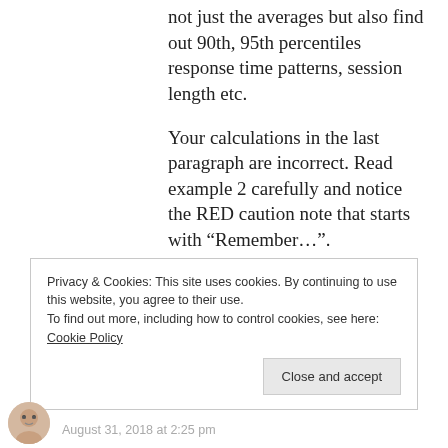not just the averages but also find out 90th, 95th percentiles response time patterns, session length etc.
Your calculations in the last paragraph are incorrect. Read example 2 carefully and notice the RED caution note that starts with “Remember…”.
Good Luck and thanks for Stopping by.
Privacy & Cookies: This site uses cookies. By continuing to use this website, you agree to their use.
To find out more, including how to control cookies, see here: Cookie Policy
August 31, 2018 at 2:25 pm